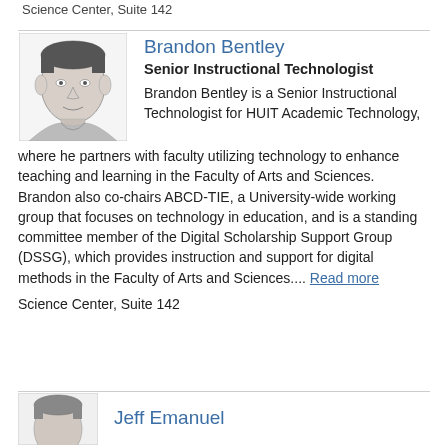Science Center, Suite 142
Brandon Bentley
Senior Instructional Technologist
Brandon Bentley is a Senior Instructional Technologist for HUIT Academic Technology, where he partners with faculty utilizing technology to enhance teaching and learning in the Faculty of Arts and Sciences. Brandon also co-chairs ABCD-TIE, a University-wide working group that focuses on technology in education, and is a standing committee member of the Digital Scholarship Support Group (DSSG), which provides instruction and support for digital methods in the Faculty of Arts and Sciences.... Read more
Science Center, Suite 142
Jeff Emanuel